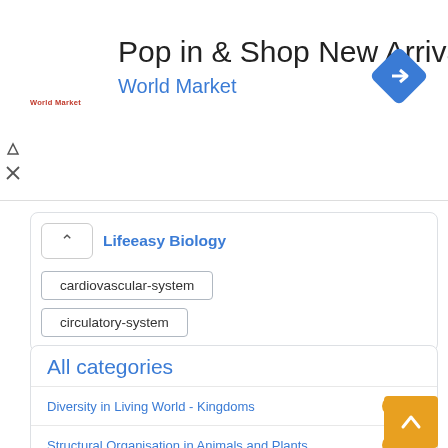[Figure (screenshot): Advertisement banner for World Market: 'Pop in & Shop New Arrivals' with World Market logo and blue diamond navigation icon]
Lifeeasy Biology
cardiovascular-system
circulatory-system
All categories
Diversity in Living World - Kingdoms  658
Structural Organisation in Animals and Plants  438
Cell Structure and Function  552
Plant Physiology  705